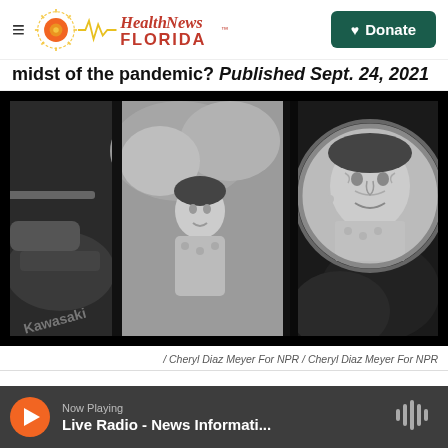Health News Florida — Donate
midst of the pandemic? Published Sept. 24, 2021
[Figure (photo): Black and white photograph taken from inside a vehicle, showing a Kawasaki motorcycle visible on the left, a young woman seen through the windshield in the middle, and an older woman's face reflected in a round side mirror on the right.]
/ Cheryl Diaz Meyer For NPR / Cheryl Diaz Meyer For NPR
Now Playing
Live Radio - News Informati...